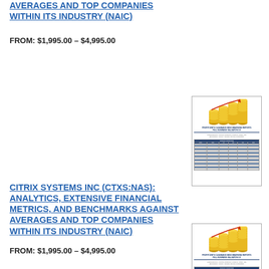AVERAGES AND TOP COMPANIES WITHIN ITS INDUSTRY (NAIC)
FROM: $1,995.00 – $4,995.00
[Figure (illustration): Thumbnail of a financial benchmarking report document with gold coin stack graphic and data table]
CITRIX SYSTEMS INC (CTXS:NAS): ANALYTICS, EXTENSIVE FINANCIAL METRICS, AND BENCHMARKS AGAINST AVERAGES AND TOP COMPANIES WITHIN ITS INDUSTRY (NAIC)
FROM: $1,995.00 – $4,995.00
[Figure (illustration): Thumbnail of a financial benchmarking report document with gold coin stack graphic and data table]